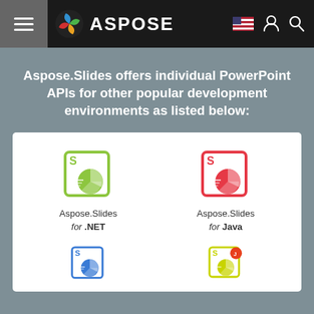ASPOSE
Aspose.Slides offers individual PowerPoint APIs for other popular development environments as listed below:
[Figure (logo): Aspose.Slides for .NET product icon - green bordered box with S and pie chart]
Aspose.Slides for .NET
[Figure (logo): Aspose.Slides for Java product icon - red bordered box with S and pie chart]
Aspose.Slides for Java
[Figure (logo): Aspose.Slides for another platform - blue bordered box with S and pie chart (partially shown)]
[Figure (logo): Aspose.Slides for another platform - yellow-green bordered box with S, pie chart and Java badge (partially shown)]